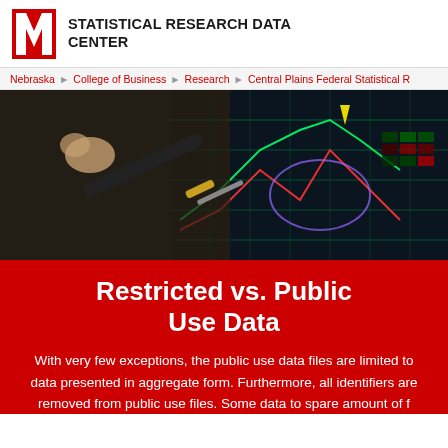STATISTICAL RESEARCH DATA CENTER
Nebraska ▶ College of Business ▶ Research ▶ Central Plains Federal Statistical R
[Figure (photo): Close-up of a hand holding a pen over a financial data screen showing colorful chart lines and data grids]
Restricted vs. Public Use Data
With very few exceptions, the public use data files are limited to data presented in aggregate form. Furthermore, all identifiers are removed from public use files. Some data to spare amount of f